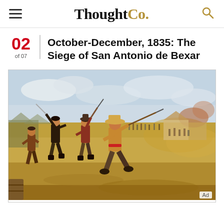ThoughtCo.
October-December, 1835: The Siege of San Antonio de Bexar
02 of 07
[Figure (illustration): Historical illustration depicting soldiers in combat during the Siege of San Antonio de Bexar, 1835. Men carrying rifles, swords, and wearing period clothing charge across a dusty battlefield with tents and smoke in the background.]